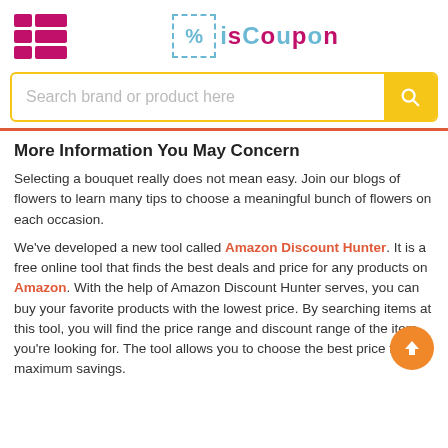[Figure (logo): isCoupon website logo with pink grid icon on the left and percent-sign in dashed box with colorful isCoupon text]
[Figure (screenshot): Search bar with placeholder text 'Search brand or product here' and yellow search button]
More Information You May Concern
Selecting a bouquet really does not mean easy. Join our blogs of flowers to learn many tips to choose a meaningful bunch of flowers on each occasion.
We've developed a new tool called Amazon Discount Hunter. It is a free online tool that finds the best deals and price for any products on Amazon. With the help of Amazon Discount Hunter serves, you can buy your favorite products with the lowest price. By searching items at this tool, you will find the price range and discount range of the item you're looking for. The tool allows you to choose the best price for maximum savings.